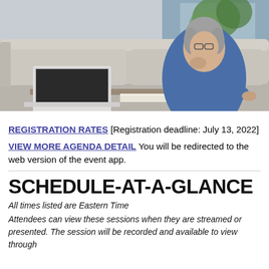[Figure (photo): A middle-aged woman with grey hair and glasses, wearing a blue shirt, sitting on a grey sofa working on a laptop. There is a coffee cup on the table. Plants visible in the background.]
REGISTRATION RATES [Registration deadline: July 13, 2022]
VIEW MORE AGENDA DETAIL You will be redirected to the web version of the event app.
SCHEDULE-AT-A-GLANCE
All times listed are Eastern Time
Attendees can view these sessions when they are streamed or presented. The session will be recorded and available to view through